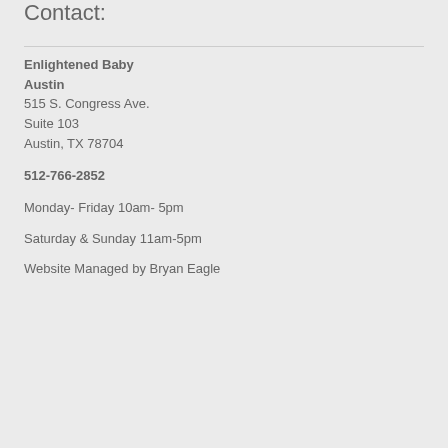Contact:
Enlightened Baby
Austin
515 S. Congress Ave.
Suite 103
Austin, TX 78704
512-766-2852
Monday- Friday 10am- 5pm
Saturday & Sunday 11am-5pm
Website Managed by Bryan Eagle